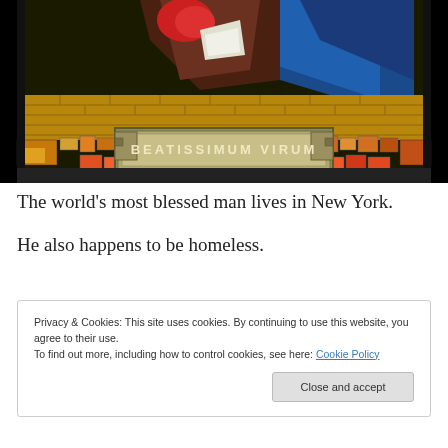[Figure (illustration): Stained glass window image showing figures in blue and brown robes over a mosaic brick pattern. A rectangular banner in the center reads 'BEATISSIMUM VIRUM' in gold letters on a dark background with decorative borders.]
The world's most blessed man lives in New York.
He also happens to be homeless.
Privacy & Cookies: This site uses cookies. By continuing to use this website, you agree to their use.
To find out more, including how to control cookies, see here: Cookie Policy